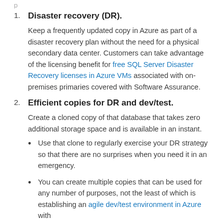Disaster recovery (DR). Keep a frequently updated copy in Azure as part of a disaster recovery plan without the need for a physical secondary data center. Customers can take advantage of the licensing benefit for free SQL Server Disaster Recovery licenses in Azure VMs associated with on-premises primaries covered with Software Assurance.
Efficient copies for DR and dev/test. Create a cloned copy of that database that takes zero additional storage space and is available in an instant.
Use that clone to regularly exercise your DR strategy so that there are no surprises when you need it in an emergency.
You can create multiple copies that can be used for any number of purposes, not the least of which is establishing an agile dev/test environment in Azure with